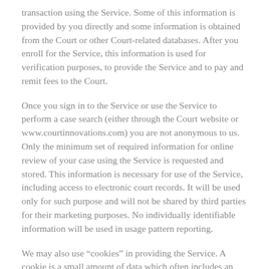transaction using the Service. Some of this information is provided by you directly and some information is obtained from the Court or other Court-related databases. After you enroll for the Service, this information is used for verification purposes, to provide the Service and to pay and remit fees to the Court.
Once you sign in to the Service or use the Service to perform a case search (either through the Court website or www.courtinnovations.com) you are not anonymous to us. Only the minimum set of required information for online review of your case using the Service is requested and stored. This information is necessary for use of the Service, including access to electronic court records. It will be used only for such purpose and will not be shared by third parties for their marketing purposes. No individually identifiable information will be used in usage pattern reporting.
We may also use “cookies” in providing the Service. A cookie is a small amount of data which often includes an anonymous unique identifier which is sent to your browser from a website’s computers and stored on your computer’s hard drive. The data stored in these cookies is read by the Court website or the Court Innovations website for the